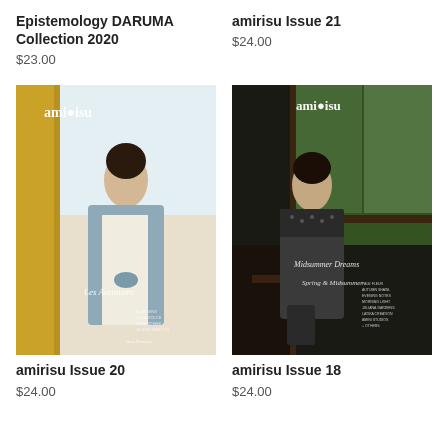Epistemology DARUMA Collection 2020
$23.00
amirisu Issue 21
$24.00
[Figure (photo): Cover of amirisu Issue 20 showing a woman in a blue cardigan near a yellow window frame, with text 'Les Aventures' and 'amirisu' logo]
[Figure (photo): Cover of amirisu Issue 18 showing a woman in a dark knit sweater near a window with trees, text 'Midsummer Dreams', 'Spring & Midsummer', and 'amirisu' logo]
amirisu Issue 20
$24.00
amirisu Issue 18
$24.00